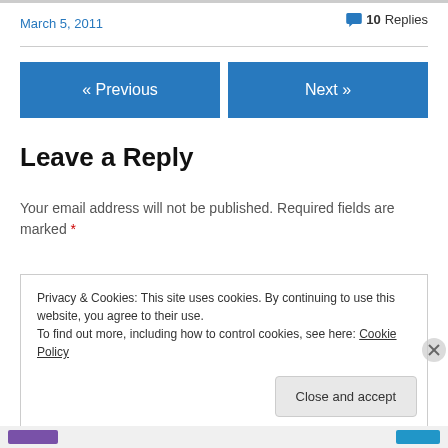March 5, 2011
💬 10 Replies
« Previous
Next »
Leave a Reply
Your email address will not be published. Required fields are marked *
Privacy & Cookies: This site uses cookies. By continuing to use this website, you agree to their use.
To find out more, including how to control cookies, see here: Cookie Policy
Close and accept